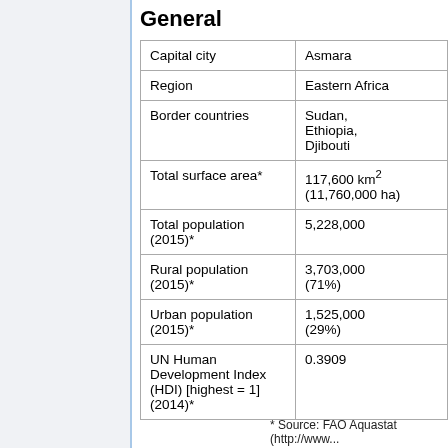General
| Capital city | Asmara |
| Region | Eastern Africa |
| Border countries | Sudan, Ethiopia, Djibouti |
| Total surface area* | 117,600 km² (11,760,000 ha) |
| Total population (2015)* | 5,228,000 |
| Rural population (2015)* | 3,703,000 (71%) |
| Urban population (2015)* | 1,525,000 (29%) |
| UN Human Development Index (HDI) [highest = 1] (2014)* | 0.3909 |
* Source: FAO Aquastat (http://www...